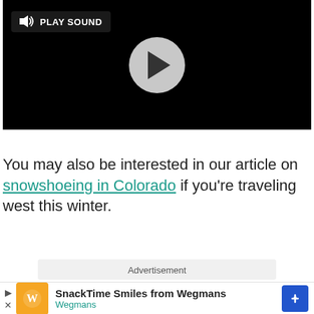[Figure (screenshot): Video player with black background, 'PLAY SOUND' button in top-left, and a circular play button in the center]
You may also be interested in our article on snowshoeing in Colorado if you're traveling west this winter.
Advertisement
[Figure (infographic): Wegmans advertisement banner: SnackTime Smiles from Wegmans with orange logo and blue diamond navigation icon]